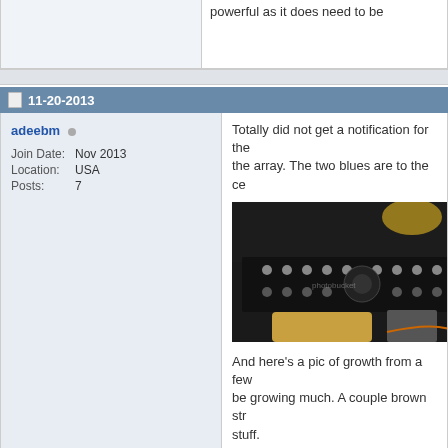powerful as it does need to be
11-20-2013
adeebm
Join Date: Nov 2013
Location: USA
Posts: 7
Totally did not get a notification for the array. The two blues are to the ce
[Figure (photo): Photo of a dark LED grow light panel above a cylindrical container, taken in a basement or grow room setting]
And here's a pic of growth from a few be growing much. A couple brown str stuff.
[Figure (photo): Photo of a cylindrical container with condensation or growth on its surface, possibly a fermentation or grow container]